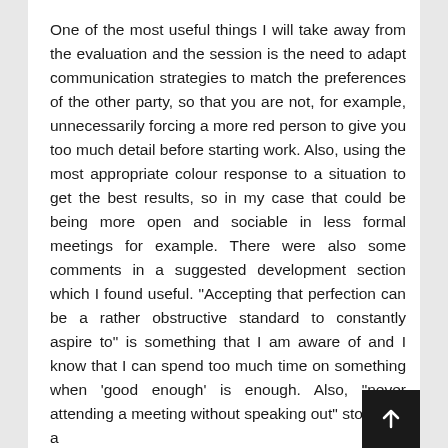One of the most useful things I will take away from the evaluation and the session is the need to adapt communication strategies to match the preferences of the other party, so that you are not, for example, unnecessarily forcing a more red person to give you too much detail before starting work. Also, using the most appropriate colour response to a situation to get the best results, so in my case that could be being more open and sociable in less formal meetings for example. There were also some comments in a suggested development section which I found useful. "Accepting that perfection can be a rather obstructive standard to constantly aspire to" is something that I am aware of and I know that I can spend too much time on something when 'good enough' is enough. Also, "never attending a meeting without speaking out" stood out a